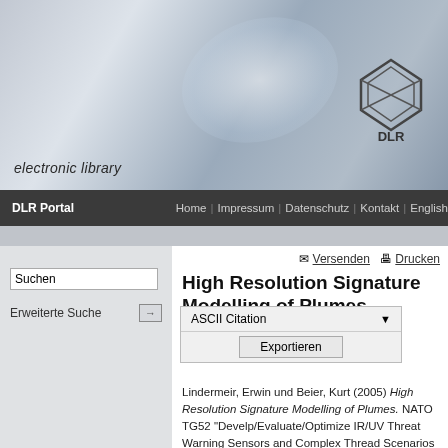[Figure (screenshot): DLR electronic library website header banner with blue/grey gradient background and DLR logo]
electronic library
DLR Portal | Home | Impressum | Datenschutz | Kontakt | English
Suchen
Erweiterte Suche
High Resolution Signature Modelling of Plumes
ASCII Citation ▼  Exportieren
Lindermeir, Erwin und Beier, Kurt (2005) High Resolution Signature Modelling of Plumes. NATO TG52 "Develp/Evaluate/Optimize IR/UV Threat Warning Sensors and Complex Thread Scenarios using NEOTAM", 2005-11-16, Ottobrunn, Germany.
Dieses Archiv kann nicht den Volltext zur Verfügung stellen.
| Field | Value |
| --- | --- |
| elib-URL des Eintrags: | https://elib.dlr.de/20000/ |
| Dokumentart: | Konferenzbeitrag (Vortrag) |
| Titel: | High Resolution Signature |